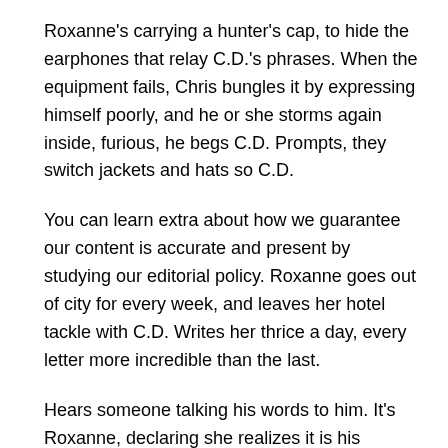Roxanne's carrying a hunter's cap, to hide the earphones that relay C.D.'s phrases. When the equipment fails, Chris bungles it by expressing himself poorly, and he or she storms again inside, furious, he begs C.D. Prompts, they switch jackets and hats so C.D.
You can learn extra about how we guarantee our content is accurate and present by studying our editorial policy. Roxanne goes out of city for every week, and leaves her hotel tackle with C.D. Writes her thrice a day, every letter more incredible than the last.
Hears someone talking his words to him. It's Roxanne, declaring she realizes it is his character that she loves, not Chris' looks. Stylishly descends from the roof they usually reconcile. In the credits, she reveals she named the comet “Charlie” (C.D.'s first name), after her father. Chris prepares